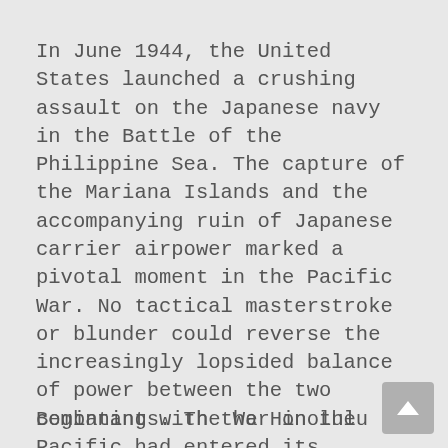In June 1944, the United States launched a crushing assault on the Japanese navy in the Battle of the Philippine Sea. The capture of the Mariana Islands and the accompanying ruin of Japanese carrier airpower marked a pivotal moment in the Pacific War. No tactical masterstroke or blunder could reverse the increasingly lopsided balance of power between the two combatants. The War in the Pacific had entered its endgame.
Beginning with the Honolulu